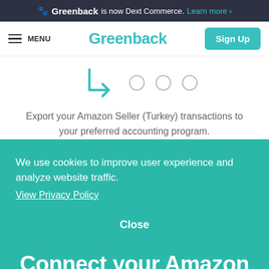Greenback is now Dext Commerce. Learn more ›
MENU  Greenback  Sign Up
[Figure (illustration): Teal arrow illustration with three empty circles]
Export your Amazon Seller (Turkey) transactions to your preferred accounting program.
We use cookies to improve user experience and analyze website traffic.
View Privacy Policy
Close
Connect your Amazon